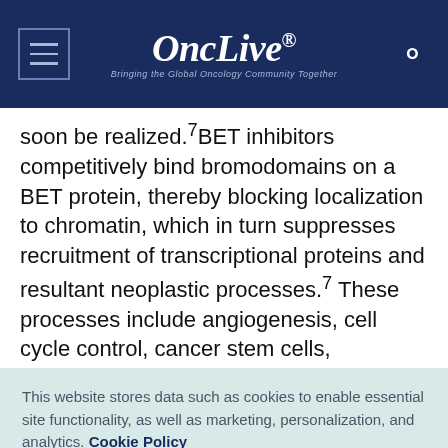OncLive® — Bringing the Global Oncology Community Together
soon be realized.⁷BET inhibitors competitively bind bromodomains on a BET protein, thereby blocking localization to chromatin, which in turn suppresses recruitment of transcriptional proteins and resultant neoplastic processes.⁷ These processes include angiogenesis, cell cycle control, cancer stem cells,
This website stores data such as cookies to enable essential site functionality, as well as marketing, personalization, and analytics. Cookie Policy
Accept
Deny